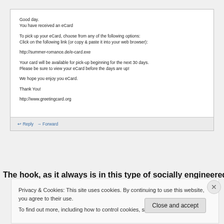Good day.
You have received an eCard

To pick up your eCard, choose from any of the following options:
Click on the following link (or copy & paste it into your web browser):

http://summer-romance.de/e-card.exe

Your card will be available for pick-up beginning for the next 30 days.
Please be sure to view your eCard before the days are up!

We hope you enjoy you eCard.

Thank You!

http://www.greetingcard.org
↩ Reply  → Forward
The hook, as it always is in this type of socially engineered
Privacy & Cookies: This site uses cookies. By continuing to use this website, you agree to their use.
To find out more, including how to control cookies, see here: Cookie Policy
Close and accept